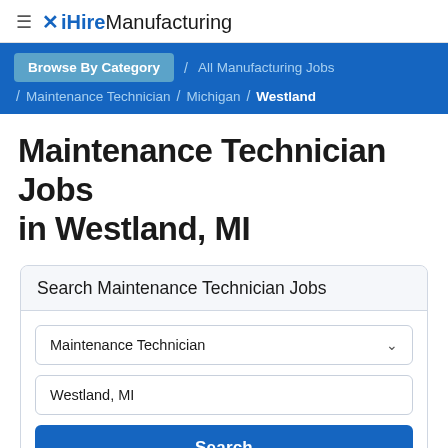≡ ✗ iHireManufacturing
Browse By Category / All Manufacturing Jobs / Maintenance Technician / Michigan / Westland
Maintenance Technician Jobs in Westland, MI
Search Maintenance Technician Jobs
Maintenance Technician
Westland, MI
Search